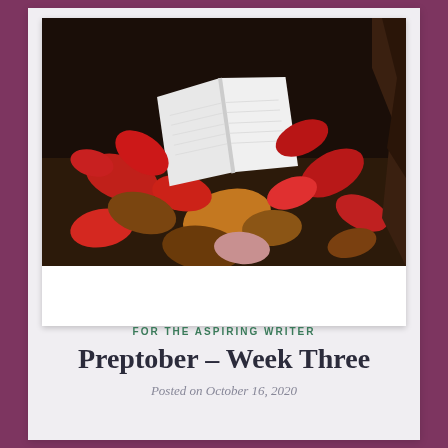[Figure (photo): Polaroid-style photo of an open book lying on autumn leaves (red, orange, brown) against a dark background]
FOR THE ASPIRING WRITER
Preptober – Week Three
Posted on October 16, 2020